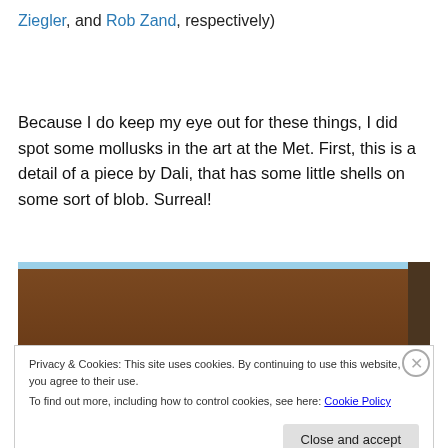Ziegler, and Rob Zand, respectively)
Because I do keep my eye out for these things, I did spot some mollusks in the art at the Met. First, this is a detail of a piece by Dali, that has some little shells on some sort of blob. Surreal!
[Figure (photo): A photograph showing a detail of a artwork at the Met, brownish textured surface with a light blue strip at top and a darker brown strip on the right edge.]
Privacy & Cookies: This site uses cookies. By continuing to use this website, you agree to their use.
To find out more, including how to control cookies, see here: Cookie Policy
Close and accept